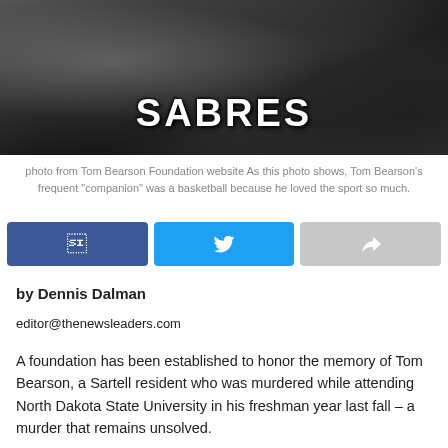[Figure (photo): Black and white photo of a person in a Sabres basketball jersey holding a basketball, with another person beside them]
photo from Tom Bearson Foundation website As this photo shows, Tom Bearson's frequent "companion" was a basketball because he loved the sport so much.
[Figure (infographic): Social media share buttons: Facebook (blue), Twitter (light blue), and a share/forward button (gray)]
by Dennis Dalman
editor@thenewsleaders.com
A foundation has been established to honor the memory of Tom Bearson, a Sartell resident who was murdered while attending North Dakota State University in his freshman year last fall – a murder that remains unsolved.